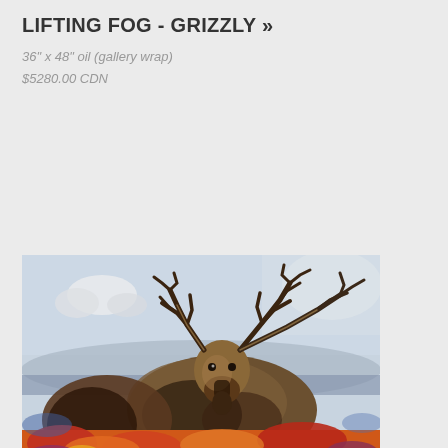LIFTING FOG - GRIZZLY »
36" x 48" oil (gallery wrap)
$5280.00 CDN
[Figure (illustration): Oil painting of a moose standing in colorful autumn foliage with a misty blue-grey sky background. The moose faces the viewer with large antlers spread wide. The painting uses bold, impressionistic brushstrokes with vivid oranges, reds, purples in the foreground vegetation.]
MORNING FOG - MOOSE »
30" x 40" oil (gallery wrap)
$4415.00 CDN